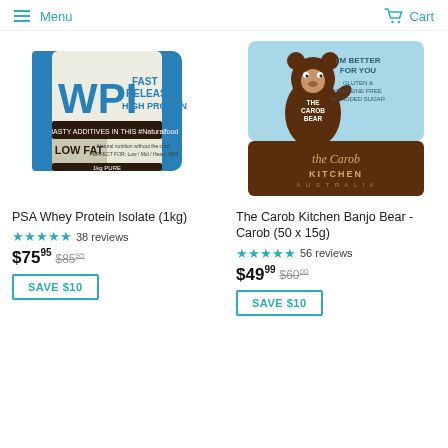Menu  Cart
[Figure (photo): WPI Fast Release High Protein 1kg bag product photo]
[Figure (photo): The Carob Kitchen Banjo Bear Carob box product photo]
PSA Whey Protein Isolate (1kg)
The Carob Kitchen Banjo Bear - Carob (50 x 15g)
★★★★★ 38 reviews
★★★★★ 56 reviews
$75.95  $85.95
$49.99  $60.00
SAVE $10
SAVE $10